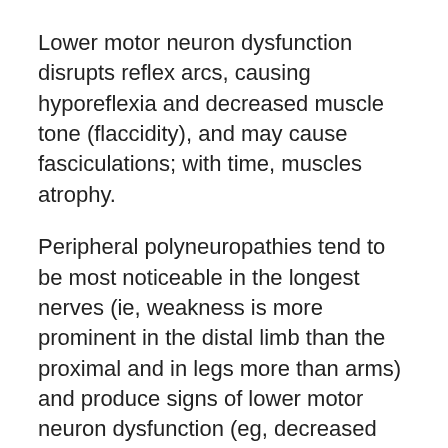Lower motor neuron dysfunction disrupts reflex arcs, causing hyporeflexia and decreased muscle tone (flaccidity), and may cause fasciculations; with time, muscles atrophy.
Peripheral polyneuropathies tend to be most noticeable in the longest nerves (ie, weakness is more prominent in the distal limb than the proximal and in legs more than arms) and produce signs of lower motor neuron dysfunction (eg, decreased reflexes and muscle tone).
The most common disorder of the neuromuscular junction—myasthenia gravis—typically causes fluctuating weakness that worsens with activity and lessens with rest.
Diffuse muscle dysfunction (eg, in myopathies) tends to be most noticeable in the largest muscle groups (proximal